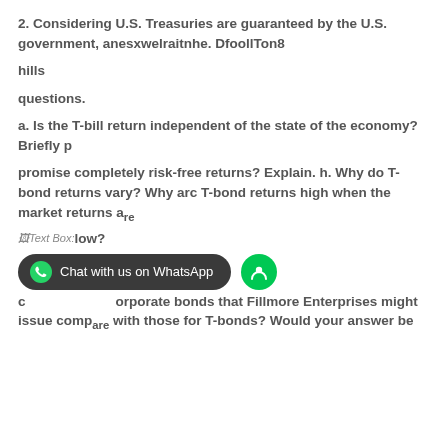2. Considering U.S. Treasuries are guaranteed by the U.S. government, anesxwelraitnhe. DfoollTon8
hills
questions.
a. Is the T-bill return independent of the state of the economy? Briefly p
promise completely risk-free returns? Explain. h. Why do T-bond returns vary? Why arc T-bond returns high when the market returns are
low?
c corporate bonds that Fillmore Enterprises might issue compare with those for T-bonds? Would your answer be